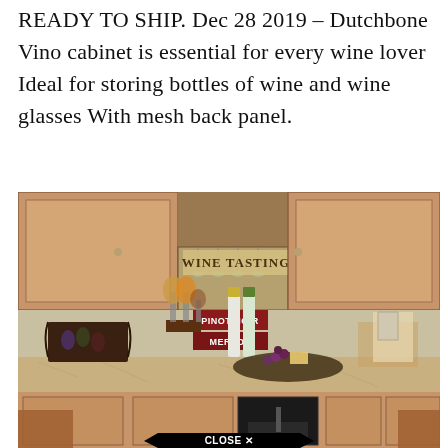READY TO SHIP. Dec 28 2019 – Dutchbone Vino cabinet is essential for every wine lover Ideal for storing bottles of wine and wine glasses With mesh back panel.
[Figure (photo): Kitchen counter decorated with wine bottles, wine glasses, a decorative wine rack holding bottles, fruit and cheese platters, and small kitchen accessories. Upper cabinets visible with a 'WINE TASTING' sign and wine signs reading 'PINOT NOIR' and 'MERLOT'. A wine refrigerator is visible in the lower cabinet. A 'CLOSE X' button overlay appears at the bottom center of the image.]